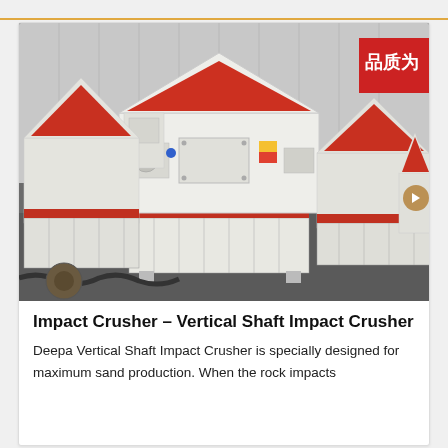[Figure (photo): Multiple white and red Vertical Shaft Impact Crusher machines lined up in a factory/warehouse setting. Chinese text signage visible in background reading 品质为. Machines have house-shaped tops with red interior trim and grid base sections.]
Impact Crusher – Vertical Shaft Impact Crusher
Deepa Vertical Shaft Impact Crusher is specially designed for maximum sand production. When the rock impacts